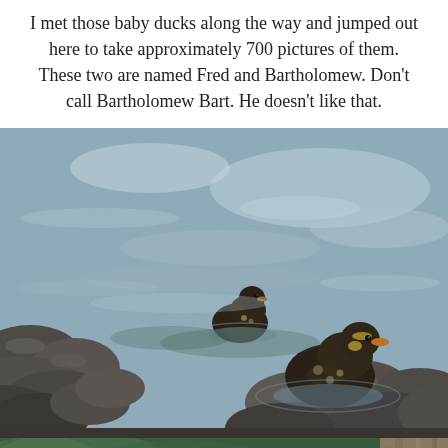I met those baby ducks along the way and jumped out here to take approximately 700 pictures of them.  These two are named Fred and Bartholomew.  Don't call Bartholomew Bart.  He doesn't like that.
[Figure (photo): Two baby ducklings swimming in water near rocky shoreline. One duckling is in the background center, another is in the foreground right. Rocks line the bottom of the frame.]
[Figure (photo): Partial view of bottom of page showing green foliage on left and wooden fence/post on right, with a navigation up-arrow chevron overlaid on the right side.]